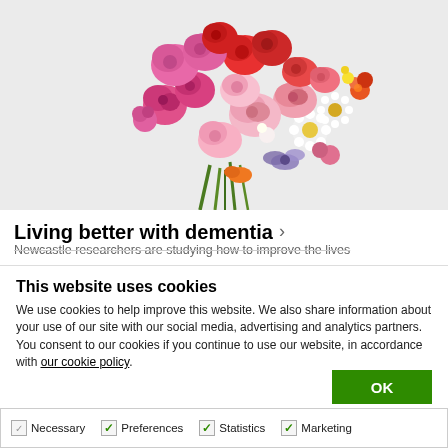[Figure (photo): A human brain shape made from colorful flowers (pink, red, orange, purple, white daisies) arranged on a light grey background with green stems]
Living better with dementia >
Newcastle researchers are studying how to improve the lives...
This website uses cookies
We use cookies to help improve this website. We also share information about your use of our site with our social media, advertising and analytics partners. You consent to our cookies if you continue to use our website, in accordance with our cookie policy.
OK
Necessary  Preferences  Statistics  Marketing